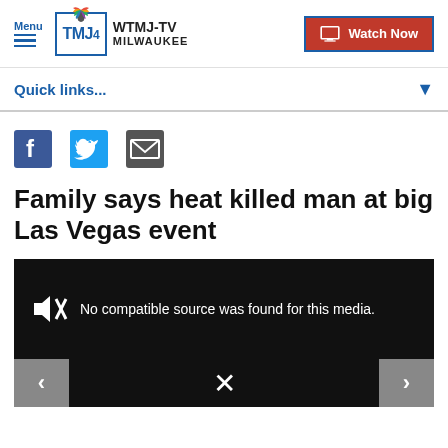Menu | WTMJ-TV MILWAUKEE | Watch Now
Quick links...
[Figure (infographic): Social share icons: Facebook, Twitter, Email]
Family says heat killed man at big Las Vegas event
[Figure (screenshot): Video player with black background showing 'No compatible source was found for this media.' with no-audio icon, left/right navigation buttons, and X close button.]